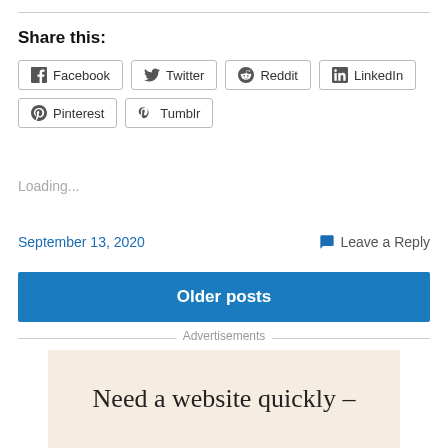Share this:
Facebook
Twitter
Reddit
LinkedIn
Pinterest
Tumblr
Loading...
September 13, 2020   Leave a Reply
Older posts
Advertisements
Need a website quickly –